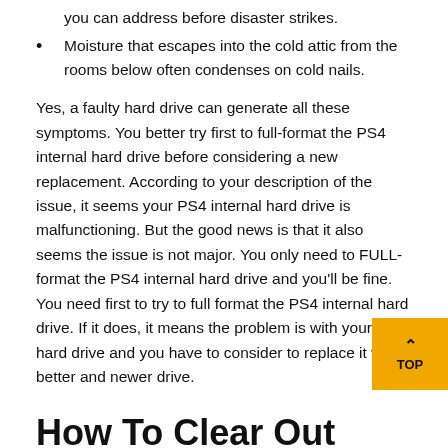you can address before disaster strikes.
Moisture that escapes into the cold attic from the rooms below often condenses on cold nails.
Yes, a faulty hard drive can generate all these symptoms. You better try first to full-format the PS4 internal hard drive before considering a new replacement. According to your description of the issue, it seems your PS4 internal hard drive is malfunctioning. But the good news is that it also seems the issue is not major. You only need to FULL-format the PS4 internal hard drive and you'll be fine. You need first to try to full format the PS4 internal hard drive. If it does, it means the problem is with your PS4 hard drive and you have to consider to replace it with a better and newer drive.
How To Clear Out Unwanted Files On A Macbook
However, if you have not done this before and are not entirely familiar with the hardware of the laptop, then do not